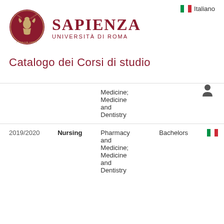[Figure (logo): Sapienza Università di Roma circular seal/crest in dark red with eagle and figure]
SAPIENZA
UNIVERSITÀ DI ROMA
Italiano
Catalogo dei Corsi di studio
|  |  |  |  |  |
| --- | --- | --- | --- | --- |
|  |  | Medicine; Medicine and Dentistry |  |  |
| 2019/2020 | Nursing | Pharmacy and Medicine; Medicine and Dentistry | Bachelors | 🇮🇹 |